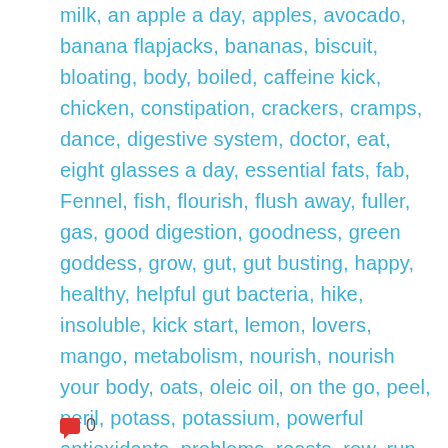milk, an apple a day, apples, avocado, banana flapjacks, bananas, biscuit, bloating, body, boiled, caffeine kick, chicken, constipation, crackers, cramps, dance, digestive system, doctor, eat, eight glasses a day, essential fats, fab, Fennel, fish, flourish, flush away, fuller, gas, good digestion, goodness, green goddess, grow, gut, gut busting, happy, healthy, helpful gut bacteria, hike, insoluble, kick start, lemon, lovers, mango, metabolism, nourish, nourish your body, oats, oleic oil, on the go, peel, peril, potass, potassium, powerful antioxidants, problems, roasts, row, run, salads, skin loving, slice, smoothies, snacks, soluble, steamed, stone, sweetness, sweetness hit, tasting, toast, toned, toxins, tummy, tummy trouble, Vitamin E, warm water, wee, wide range
0